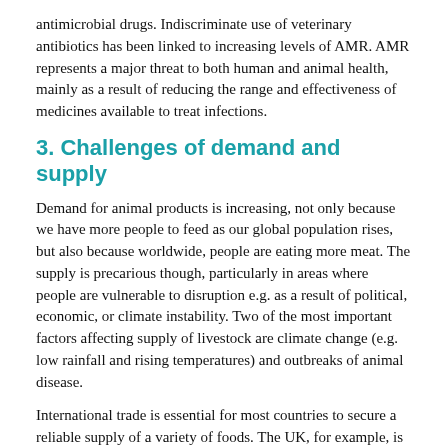antimicrobial drugs. Indiscriminate use of veterinary antibiotics has been linked to increasing levels of AMR. AMR represents a major threat to both human and animal health, mainly as a result of reducing the range and effectiveness of medicines available to treat infections.
3. Challenges of demand and supply
Demand for animal products is increasing, not only because we have more people to feed as our global population rises, but also because worldwide, people are eating more meat. The supply is precarious though, particularly in areas where people are vulnerable to disruption e.g. as a result of political, economic, or climate instability. Two of the most important factors affecting supply of livestock are climate change (e.g. low rainfall and rising temperatures) and outbreaks of animal disease.
International trade is essential for most countries to secure a reliable supply of a variety of foods. The UK, for example, is not self-sufficient. It is a net importer of beef, poultry, pork, and lamb.
Reliance on international trade exposes a national food system to risks: the fluctuation in global markets can affect food supplies and price stability. The food supply, both in terms of the livelihoods